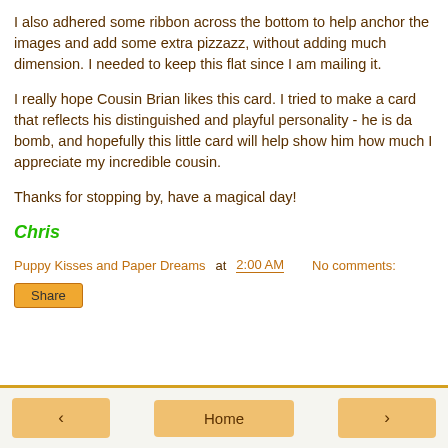I also adhered some ribbon across the bottom to help anchor the images and add some extra pizzazz, without adding much dimension.  I needed to keep this flat since I am mailing it.
I really hope Cousin Brian likes this card. I tried to make a card that reflects his distinguished and playful personality - he is da bomb, and hopefully this little card will help show him how much I appreciate my incredible cousin.
Thanks for stopping by, have a magical day!
Chris
Puppy Kisses and Paper Dreams at 2:00 AM    No comments:
Share
< Home >